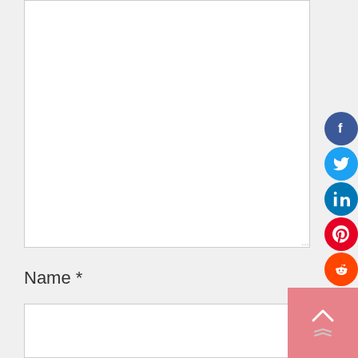[Figure (screenshot): A white textarea input box (comment field) with a resize handle at the bottom right corner]
Name *
[Figure (screenshot): A white text input box for the Name field]
[Figure (infographic): Vertical social sharing sidebar with icons: Facebook (blue), Twitter (light blue), LinkedIn (dark blue), Pinterest (red), Reddit (orange), WhatsApp (green), Email (yellow)]
[Figure (other): Pink back-to-top button with upward chevron arrow and downward double-arrow below]